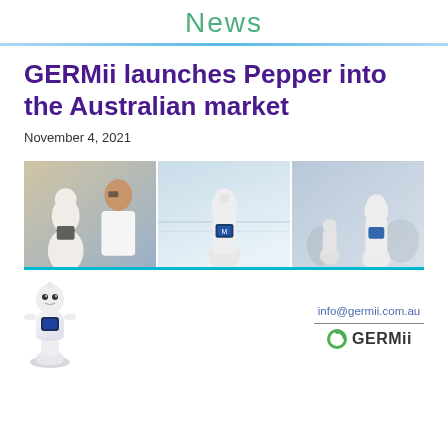News
GERMii launches Pepper into the Australian market
November 4, 2021
[Figure (photo): Three-panel banner photo showing the Pepper robot: left panel shows a man taking a selfie with Pepper robot, center panel shows Pepper robot standing in an airport terminal, right panel shows Pepper robot at a crowded event with a tablet display on its chest.]
[Figure (illustration): Small white Pepper humanoid robot illustration/photo standing full-body view]
info@germii.com.au
[Figure (logo): GERMii company logo with green circular icon and bold text 'GERMii']